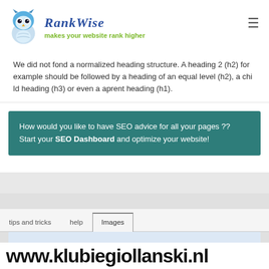RankWise — makes your website rank higher
We did not fond a normalized heading structure. A heading 2 (h2) for example should be followed by a heading of an equal level (h2), a child heading (h3) or even a aprent heading (h1).
How would you like to have SEO advice for all your pages ?? Start your SEO Dashboard and optimize your website!
tips and tricks   help   Images
www.klubiegiellanski.nl